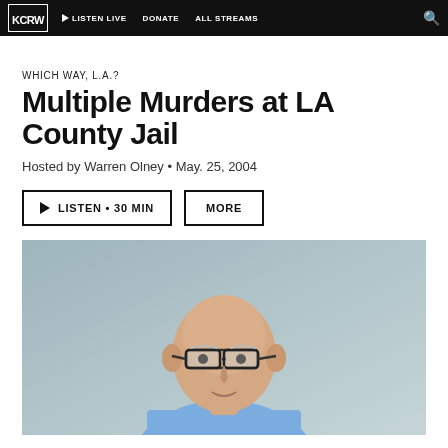KCRW • LISTEN LIVE • DONATE • ALL STREAMS
WHICH WAY, L.A.?
Multiple Murders at LA County Jail
Hosted by Warren Olney • May. 25, 2004
LISTEN • 30 MIN | MORE
[Figure (photo): Portrait photo of Warren Olney, an elderly bald man wearing glasses and a light blue shirt, photographed against a gray-blue background]